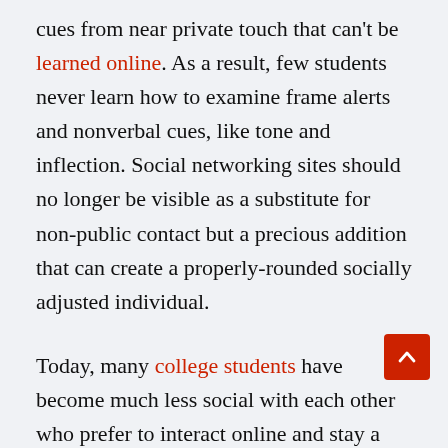cues from near private touch that can't be learned online. As a result, few students never learn how to examine frame alerts and nonverbal cues, like tone and inflection. Social networking sites should no longer be visible as a substitute for non-public contact but a precious addition that can create a properly-rounded socially adjusted individual.
Today, many college students have become much less social with each other who prefer to interact online and stay a virtual international based on false personas made without problems available through social networking websites. This, of course, may have a long-lasting impact on the circle of relatives unit, in which effective face-to-face verbal exchange is essential in keeping wholesome relationships. Can we then solidify the blame of modern-